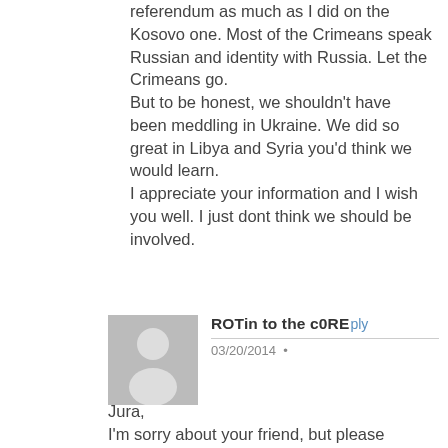referendum as much as I did on the Kosovo one. Most of the Crimeans speak Russian and identity with Russia. Let the Crimeans go.
But to be honest, we shouldn't have been meddling in Ukraine. We did so great in Libya and Syria you'd think we would learn.
I appreciate your information and I wish you well. I just dont think we should be involved.
[Figure (illustration): Generic user avatar: grey square with white silhouette of a person]
ROTin to the c0RE
Reply
03/20/2014 •
Jura,
I'm sorry about your friend, but please Google Estonian Foreign Affairs Minister Urmas Paet's leaked phone call where he